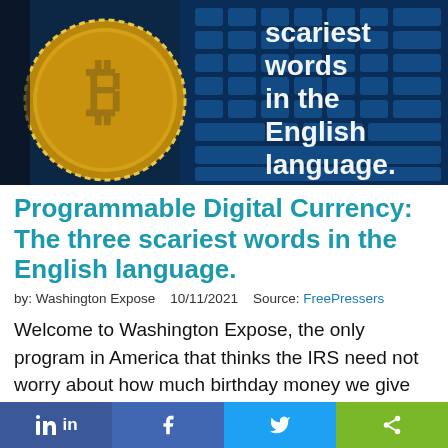[Figure (photo): Bitcoin gold coin on dark background with blue digital keyboard. Text overlay reads: 'scariest words in the English language.']
Programmable Digital Currency: The three scariest words in the English language.
by: Washington Expose   10/11/2021   Source: FreePressers
Welcome to Washington Expose, the only program in America that thinks the IRS need not worry about how much birthday money we give out. On today's show, as the IRS moves to know your every penny, we look into the world of
in   f   🐦   <